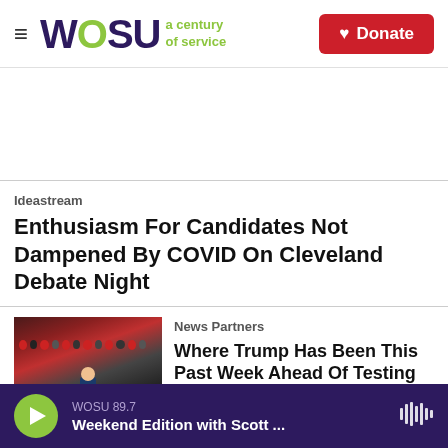WOSU a century of service | Donate
Ideastream
Enthusiasm For Candidates Not Dampened By COVID On Cleveland Debate Night
News Partners
[Figure (photo): Trump speaking at a rally podium with crowd in background]
Where Trump Has Been This Past Week Ahead Of Testing Positive For The Coronavirus
[Figure (photo): Partially visible third article image]
WOSU 89.7 | Weekend Edition with Scott ...